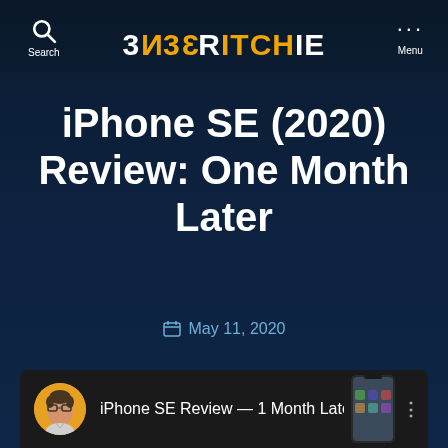Search | ENERRITCHIE | Menu
iPhone SE (2020) Review: One Month Later
May 11, 2020
[Figure (screenshot): Video thumbnail strip showing avatar of presenter and text 'iPhone SE Review — 1 Month Late...' with a phone image on the right]